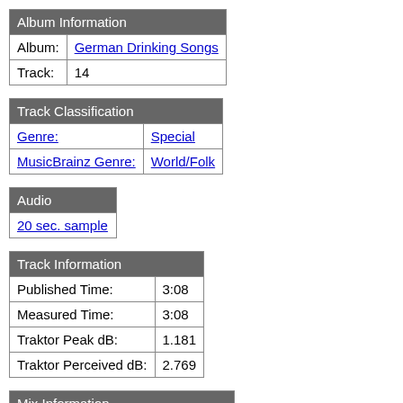| Album Information |
| --- |
| Album: | German Drinking Songs |
| Track: | 14 |
| Track Classification |
| --- |
| Genre: | Special |
| MusicBrainz Genre: | World/Folk |
| Audio |
| --- |
| 20 sec. sample |
| Track Information |
| --- |
| Published Time: | 3:08 |
| Measured Time: | 3:08 |
| Traktor Peak dB: | 1.181 |
| Traktor Perceived dB: | 2.769 |
| Mix Information |
| --- |
| Mixmeister BPM: | 158.3 |
| Traktor BPM: | 100.0 (100.0%) |